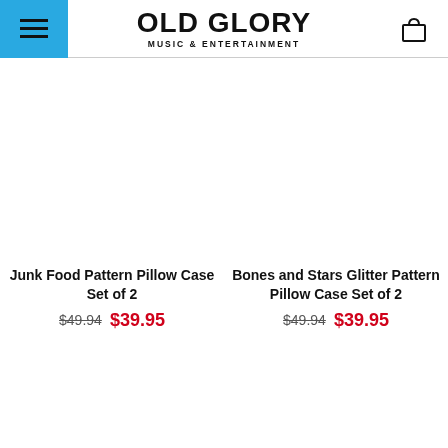OLD GLORY MUSIC & ENTERTAINMENT
Junk Food Pattern Pillow Case Set of 2 $49.94 $39.95
Bones and Stars Glitter Pattern Pillow Case Set of 2 $49.94 $39.95